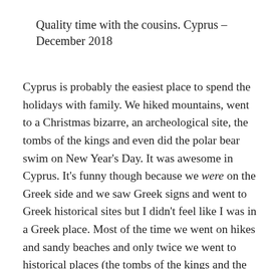Quality time with the cousins. Cyprus – December 2018
Cyprus is probably the easiest place to spend the holidays with family. We hiked mountains, went to a Christmas bizarre, an archeological site, the tombs of the kings and even did the polar bear swim on New Year's Day. It was awesome in Cyprus. It's funny though because we were on the Greek side and we saw Greek signs and went to Greek historical sites but I didn't feel like I was in a Greek place. Most of the time we went on hikes and sandy beaches and only twice we went to historical places (the tombs of the kings and the archeological site)